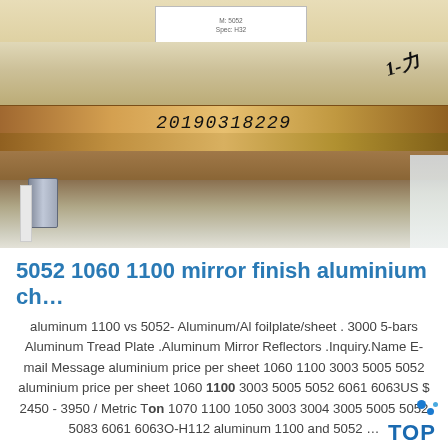[Figure (photo): Photo of aluminum/metal sheets in wooden crate packaging. A serial number '20190318229' is printed on the wood. A handwritten signature/marking is visible in the upper right. Metal clamps and straps are visible at the bottom.]
5052 1060 1100 mirror finish aluminium ch…
aluminum 1100 vs 5052- Aluminum/Al foilplate/sheet . 3000 5-bars Aluminum Tread Plate .Aluminum Mirror Reflectors .Inquiry.Name E-mail Message aluminium price per sheet 1060 1100 3003 5005 5052 aluminium price per sheet 1060 1100 3003 5005 5052 6061 6063US $ 2450 - 3950 / Metric Ton 1070 1100 1050 3003 3004 3005 5005 5052 5083 6061 6063O-H112 aluminum 1100 and 5052 …